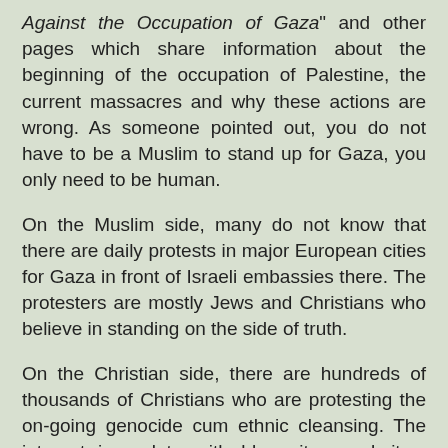Against the Occupation of Gaza" and other pages which share information about the beginning of the occupation of Palestine, the current massacres and why these actions are wrong. As someone pointed out, you do not have to be a Muslim to stand up for Gaza, you only need to be human.
On the Muslim side, many do not know that there are daily protests in major European cities for Gaza in front of Israeli embassies there. The protesters are mostly Jews and Christians who believe in standing on the side of truth.
On the Christian side, there are hundreds of thousands of Christians who are protesting the on-going genocide cum ethnic cleansing. The internet is replete with blog sites, websites, Facebook pages and Twitter handles dedicated to this issue.
There are, of course, the bigots and uninformed who seem to think it is Israel's divine right to steal